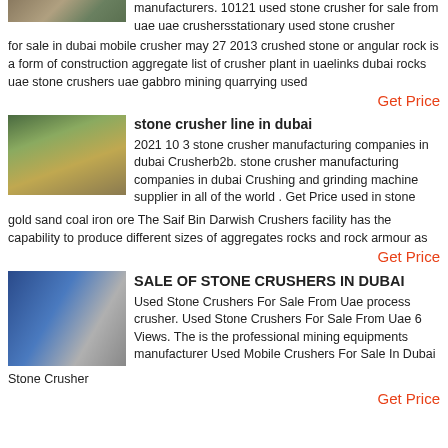[Figure (photo): Partial image of stone crusher equipment at top of page]
manufacturers. 10121 used stone crusher for sale from uae uae crushersstationary used stone crusher for sale in dubai mobile crusher may 27 2013 crushed stone or angular rock is a form of construction aggregate list of crusher plant in uaelinks dubai rocks uae stone crushers uae gabbro mining quarrying used
Get Price
[Figure (photo): Photo of stone crusher plant in a quarry setting with green foliage in background]
stone crusher line in dubai
2021 10 3 stone crusher manufacturing companies in dubai Crusherb2b. stone crusher manufacturing companies in dubai Crushing and grinding machine supplier in all of the world . Get Price used in stone gold sand coal iron ore The Saif Bin Darwish Crushers facility has the capability to produce different sizes of aggregates rocks and rock armour as
Get Price
[Figure (photo): Photo of blue industrial stone crusher machinery inside a facility]
SALE OF STONE CRUSHERS IN DUBAI
Used Stone Crushers For Sale From Uae process crusher. Used Stone Crushers For Sale From Uae 6 Views. The is the professional mining equipments manufacturer Used Mobile Crushers For Sale In Dubai Stone Crusher
Get Price